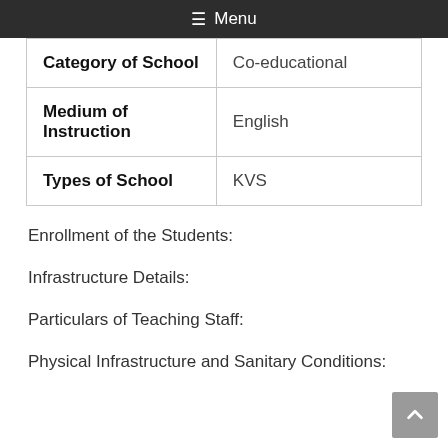☰ Menu
| Category of School | Co-educational |
| Medium of Instruction | English |
| Types of School | KVS |
Enrollment of the Students:
Infrastructure Details:
Particulars of Teaching Staff:
Physical Infrastructure and Sanitary Conditions: